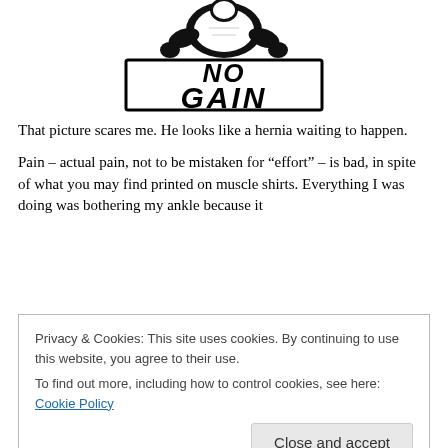[Figure (illustration): Black and white illustration of a muscular figure straining, with bold text 'NO GAIN' below, in an aggressive graphic style]
That picture scares me. He looks like a hernia waiting to happen.
Pain – actual pain, not to be mistaken for “effort” – is bad, in spite of what you may find printed on muscle shirts. Everything I was doing was bothering my ankle because it
Privacy & Cookies: This site uses cookies. By continuing to use this website, you agree to their use.
To find out more, including how to control cookies, see here: Cookie Policy
[Close and accept]
The upshot is that she wants me to wear arch supports